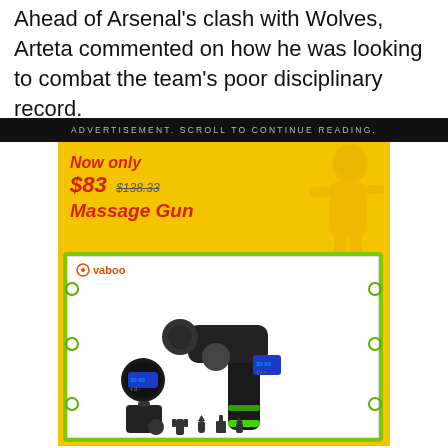Ahead of Arsenal's clash with Wolves, Arteta commented on how he was looking to combat the team's poor disciplinary record.
[Figure (other): Advertisement banner with black background reading 'ADVERTISEMENT. SCROLL TO CONTINUE READING.' followed by a product ad for a Vaboo Massage Gun priced at Now only $83 (was $138.33), showing the massage gun product with accessories on a yellow/green background.]